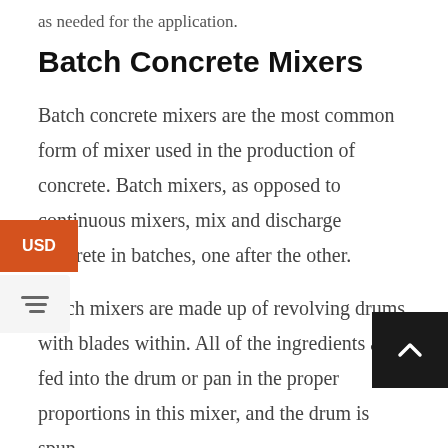as needed for the application.
Batch Concrete Mixers
Batch concrete mixers are the most common form of mixer used in the production of concrete. Batch mixers, as opposed to continuous mixers, mix and discharge concrete in batches, one after the other.
Batch mixers are made up of revolving drums with blades within. All of the ingredients are fed into the drum or pan in the proper proportions in this mixer, and the drum is spun